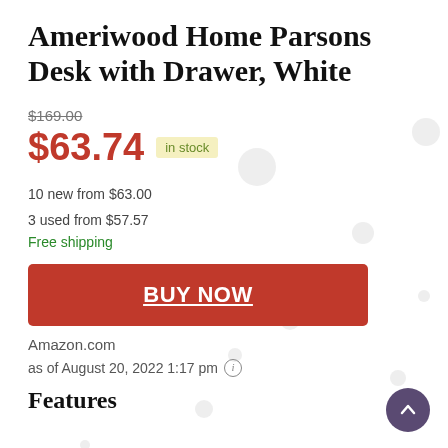Ameriwood Home Parsons Desk with Drawer, White
$169.00 (strikethrough) $63.74 in stock
10 new from $63.00
3 used from $57.57
Free shipping
[Figure (other): Red BUY NOW button]
Amazon.com
as of August 20, 2022 1:17 pm (i)
Features